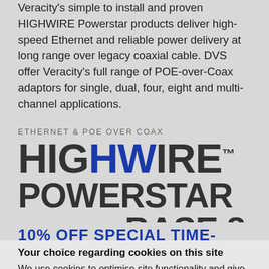Veracity's simple to install and proven HIGHWIRE Powerstar products deliver high-speed Ethernet and reliable power delivery at long range over legacy coaxial cable. DVS offer Veracity's full range of POE-over-Coax adaptors for single, dual, four, eight and multi-channel applications.
[Figure (logo): HIGHWIRE POWERSTAR BASE 8 product logo with 'ETHERNET & POE OVER COAX' subtitle. HW letters in blue, rest in dark grey, TM superscript.]
10% OFF SPECIAL TIME-LIMITED
Your choice regarding cookies on this site
We use cookies to optimise site functionality and give you